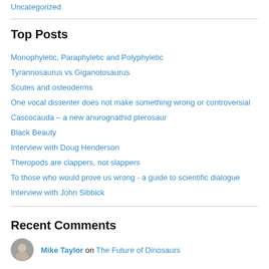Uncategorized
Top Posts
Monophyletic, Paraphyletic and Polyphyletic
Tyrannosaurus vs Giganotosaurus
Scutes and osteoderms
One vocal dissenter does not make something wrong or controversial
Cascocauda – a new anurognathid pterosaur
Black Beauty
Interview with Doug Henderson
Theropods are clappers, not slappers
To those who would prove us wrong - a guide to scientific dialogue
Interview with John Sibbick
Recent Comments
Mike Taylor on The Future of Dinosaurs